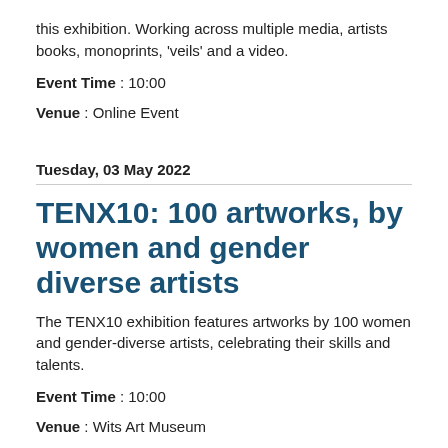this exhibition. Working across multiple media, artists books, monoprints, 'veils' and a video.
Event Time : 10:00
Venue : Online Event
Tuesday, 03 May 2022
TENX10: 100 artworks, by women and gender diverse artists
The TENX10 exhibition features artworks by 100 women and gender-diverse artists, celebrating their skills and talents.
Event Time : 10:00
Venue : Wits Art Museum